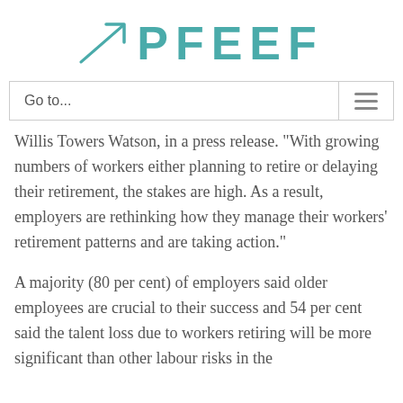[Figure (logo): PFEEF logo with teal upward-trending arrow icon and teal text 'PFEEF']
Go to...
Willis Towers Watson, in a press release. "With growing numbers of workers either planning to retire or delaying their retirement, the stakes are high. As a result, employers are rethinking how they manage their workers' retirement patterns and are taking action."
A majority (80 per cent) of employers said older employees are crucial to their success and 54 per cent said the talent loss due to workers retiring will be more significant than other labour risks in the